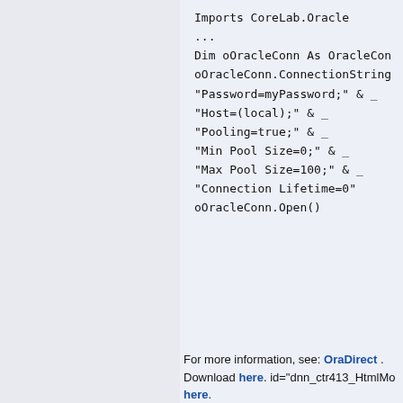Imports CoreLab.Oracle
...
Dim oOracleConn As OracleCon
oOracleConn.ConnectionString
"Password=myPassword;" & _
"Host=(local);" & _
"Pooling=true;" & _
"Min Pool Size=0;" & _
"Max Pool Size=100;" & _
"Connection Lifetime=0"
oOracleConn.Open()
For more information, see: OraDirect . Download here. id="dnn_ctr413_HtmlMo here.